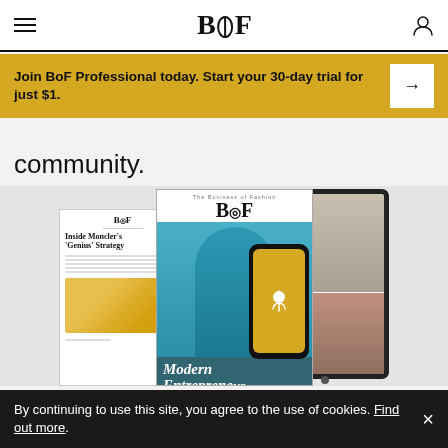BoF
Join BoF Professional today. Start your 30-day trial for just $1.
community.
[Figure (photo): BoF magazine, tablet, and phone app mockups showing BoF Professional content including a cover with 'Modern Entrepreneur' headline and a woman in a teal outfit]
Be informed. Be connected. Be inspired.
By continuing to use this site, you agree to the use of cookies. Find out more.